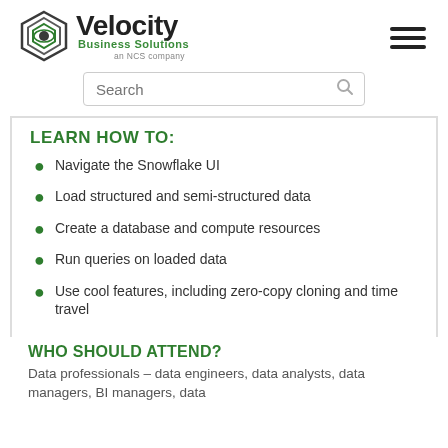[Figure (logo): Velocity Business Solutions – an NCS company logo with hexagonal eye icon]
LEARN HOW TO:
Navigate the Snowflake UI
Load structured and semi-structured data
Create a database and compute resources
Run queries on loaded data
Use cool features, including zero-copy cloning and time travel
WHO SHOULD ATTEND?
Data professionals – data engineers, data analysts, data managers, BI managers, data